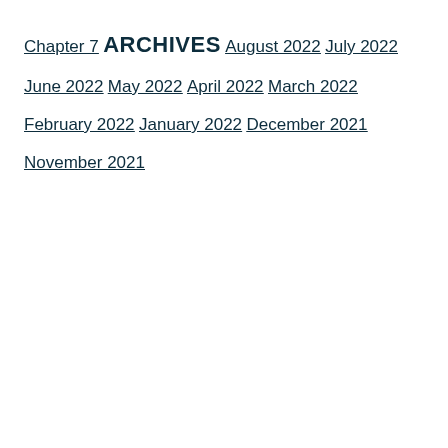Chapter 7
ARCHIVES
August 2022
July 2022
June 2022
May 2022
April 2022
March 2022
February 2022
January 2022
December 2021
November 2021